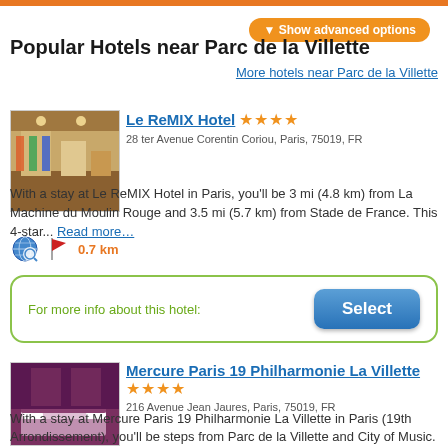Show advanced options
Popular Hotels near Parc de la Villette
More hotels near Parc de la Villette
[Figure (photo): Hotel lobby photo for Le ReMIX Hotel]
Le ReMIX Hotel ★★★★
28 ter Avenue Corentin Coriou, Paris, 75019, FR
With a stay at Le ReMIX Hotel in Paris, you'll be 3 mi (4.8 km) from La Machine du Moulin Rouge and 3.5 mi (5.7 km) from Stade de France. This 4-star... Read more…
0.7 km
For more info about this hotel:
[Figure (photo): Hotel room photo for Mercure Paris 19 Philharmonie La Villette]
Mercure Paris 19 Philharmonie La Villette ★★★★
216 Avenue Jean Jaures, Paris, 75019, FR
With a stay at Mercure Paris 19 Philharmonie La Villette in Paris (19th Arrondissement), you'll be steps from Parc de la Villette and City of Music. This... Read more…